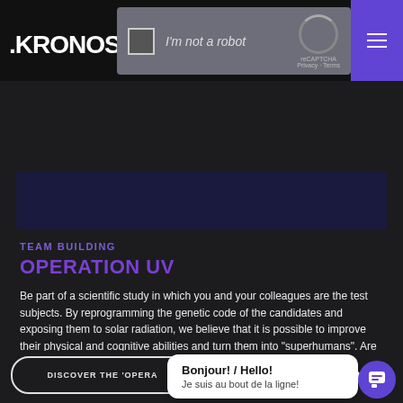.KRONOS XP
[Figure (screenshot): reCAPTCHA widget overlay showing 'I'm not a robot' checkbox with reCAPTCHA logo]
[Figure (screenshot): Dark blue banner section]
TEAM BUILDING
OPERATION UV
Be part of a scientific study in which you and your colleagues are the test subjects. By reprogramming the genetic code of the candidates and exposing them to solar radiation, we believe that it is possible to improve their physical and cognitive abilities and turn them into "superhumans". Are you ready to put the fate of your employees in the hands of science?
DISCOVER THE 'OPERA
Bonjour! / Hello!
Je suis au bout de la ligne!